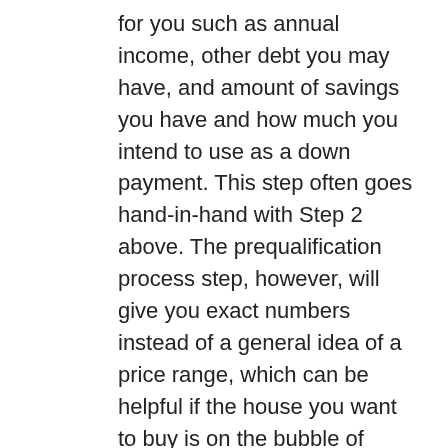for you such as annual income, other debt you may have, and amount of savings you have and how much you intend to use as a down payment. This step often goes hand-in-hand with Step 2 above. The prequalification process step, however, will give you exact numbers instead of a general idea of a price range, which can be helpful if the house you want to buy is on the bubble of affordability.
4. Get approved. Once you make an offer on a home and it is accepted and you are under contract, the real work begins. Lisa Johnson Mortgage Brokers in Prince George will find you the lowest mortgage rate and the best terms available. For example, one bank may have the lowest rate but has higher closing